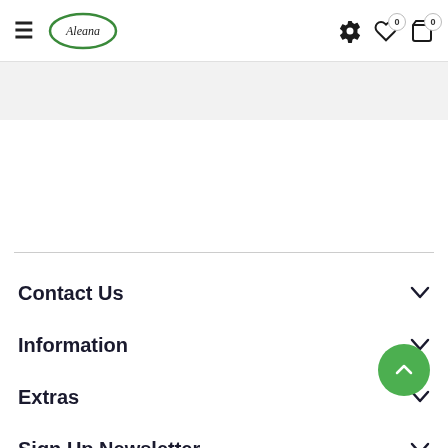≡ Aleana [logo] ⚙ ♡ 0 🛒 0
Contact Us
Information
Extras
Sign Up Newsletter